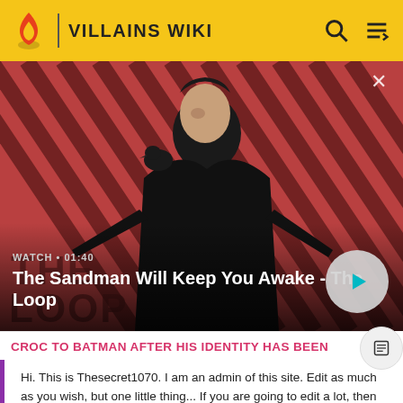VILLAINS WIKI
[Figure (screenshot): Video thumbnail showing a dark-dressed figure with a crow on shoulder against a red and dark diagonal stripe background. Title reads: The Sandman Will Keep You Awake - The Loop. Watch time 01:40.]
CROC TO BATMAN AFTER HIS IDENTITY HAS BEEN
Hi. This is Thesecret1070. I am an admin of this site. Edit as much as you wish, but one little thing... If you are going to edit a lot, then make yourself a user and login. Other than that, enjoy Villains Wiki!!!